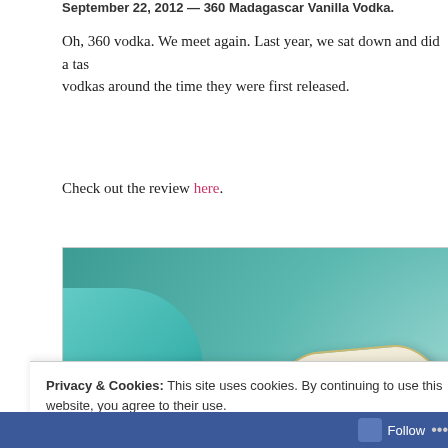September 22, 2012 — 360 Madagascar Vanilla Vodka
Oh, 360 vodka. We meet again. Last year, we sat down and did a tasting of their vodkas around the time they were first released.
Check out the review here.
[Figure (photo): Close-up photo of a 360 Madagascar Vanilla Vodka bottle label, surrounded by teal-colored cups and saucers]
Privacy & Cookies: This site uses cookies. By continuing to use this website, you agree to their use. To find out more, including how to control cookies, see here: Cookie Policy
Close and accept
Follow ...